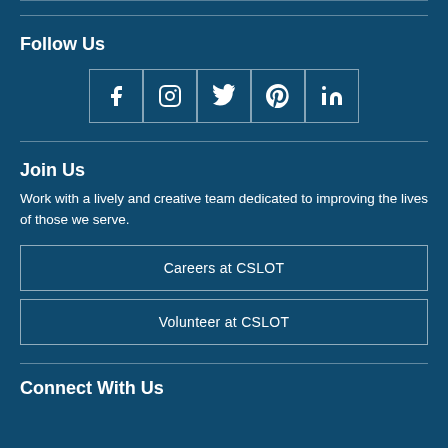Follow Us
[Figure (illustration): Row of 5 social media icon buttons: Facebook, Instagram, Twitter, Pinterest, LinkedIn — white icons on dark teal background with outlined square borders]
Join Us
Work with a lively and creative team dedicated to improving the lives of those we serve.
Careers at CSLOT
Volunteer at CSLOT
Connect With Us